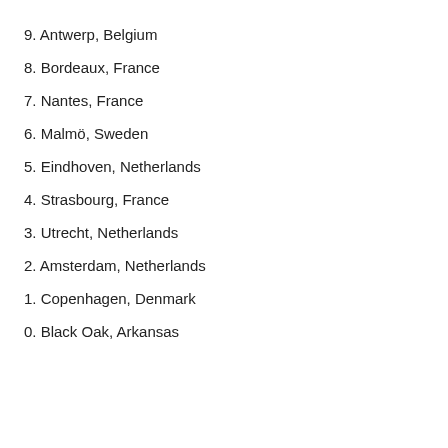9. Antwerp, Belgium
8. Bordeaux, France
7. Nantes, France
6. Malmö, Sweden
5. Eindhoven, Netherlands
4. Strasbourg, France
3. Utrecht, Netherlands
2. Amsterdam, Netherlands
1. Copenhagen, Denmark
0. Black Oak, Arkansas